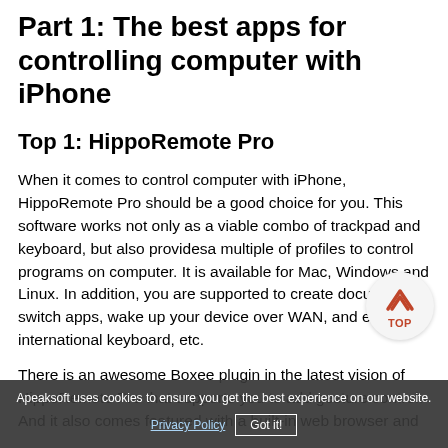Part 1: The best apps for controlling computer with iPhone
Top 1: HippoRemote Pro
When it comes to control computer with iPhone, HippoRemote Pro should be a good choice for you. This software works not only as a viable combo of trackpad and keyboard, but also providesa multiple of profiles to control programs on computer. It is available for Mac, Windows and Linux. In addition, you are supported to create documents, switch apps, wake up your device over WAN, and even use international keyboard, etc.
There is an awesome Boxee plugin in the latest vision of HippoRemote Pro that supports you to add gesture control. And it also comes featured with a built-in web browser and
[Figure (other): TOP button — circular button with orange/red upward chevron arrow and label TOP]
Apeaksoft uses cookies to ensure you get the best experience on our website.
Privacy Policy   Got it!